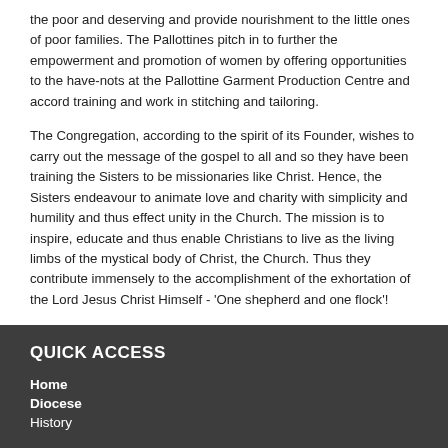the poor and deserving and provide nourishment to the little ones of poor families. The Pallottines pitch in to further the empowerment and promotion of women by offering opportunities to the have-nots at the Pallottine Garment Production Centre and accord training and work in stitching and tailoring.
The Congregation, according to the spirit of its Founder, wishes to carry out the message of the gospel to all and so they have been training the Sisters to be missionaries like Christ. Hence, the Sisters endeavour to animate love and charity with simplicity and humility and thus effect unity in the Church. The mission is to inspire, educate and thus enable Christians to live as the living limbs of the mystical body of Christ, the Church. Thus they contribute immensely to the accomplishment of the exhortation of the Lord Jesus Christ Himself - 'One shepherd and one flock'!
Written by His Excellency, (Late) Rt. Rev. Dr. Joseph Kureethara
QUICK ACCESS
Home
Diocese
History